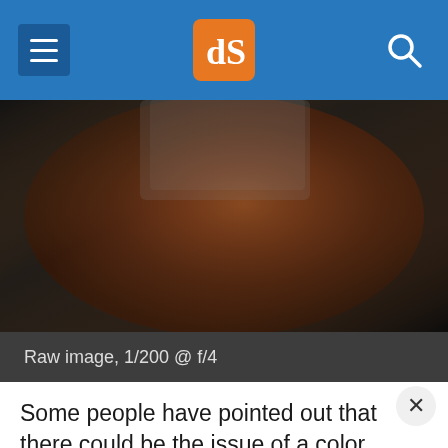dPS navigation bar
[Figure (photo): Close-up photo of a person wearing a brown leather jacket, dark moody background]
Raw image, 1/200 @ f/4
Some people have pointed out that there could be the issue of a color cast with certain brands of ND filters. I have not experienced any issues with the ProMaster brand. However, it's